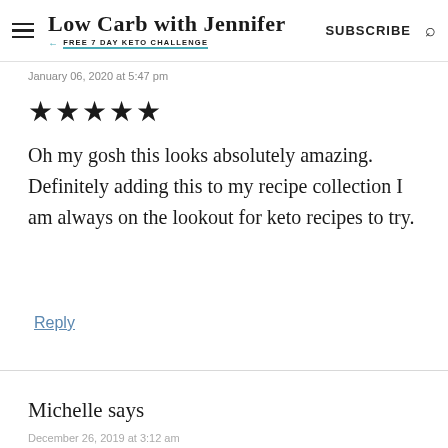Low Carb with Jennifer — FREE 7 DAY KETO CHALLENGE | SUBSCRIBE
January 06, 2020 at 5:47 pm
★★★★★
Oh my gosh this looks absolutely amazing. Definitely adding this to my recipe collection I am always on the lookout for keto recipes to try.
Reply
Michelle says
December 26, 2019 at 3:12 am